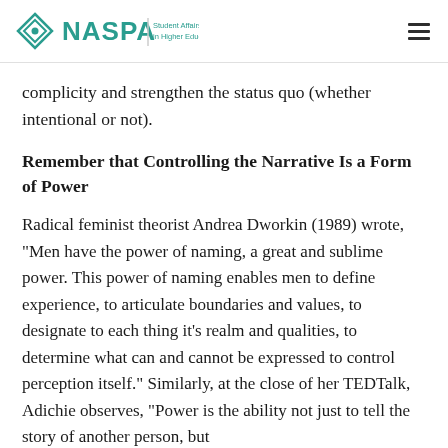NASPA | Student Affairs Administrators in Higher Education
complicity and strengthen the status quo (whether intentional or not).
Remember that Controlling the Narrative Is a Form of Power
Radical feminist theorist Andrea Dworkin (1989) wrote, "Men have the power of naming, a great and sublime power. This power of naming enables men to define experience, to articulate boundaries and values, to designate to each thing it's realm and qualities, to determine what can and cannot be expressed to control perception itself." Similarly, at the close of her TEDTalk, Adichie observes, "Power is the ability not just to tell the story of another person, but